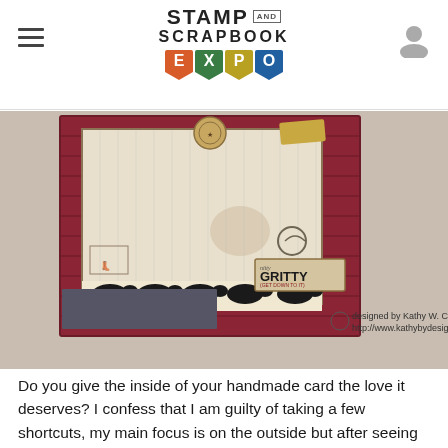STAMP AND SCRAPBOOK EXPO
[Figure (photo): Photo of a handmade scrapbook card interior with western/cowboy theme, showing layered papers, stamped images of boots and cowboys on horseback, and a tag reading 'GRITTY (GET DOWN TO IT)'. Watermark reads: designed by Kathy W. Clement http://www.kathybydesign.com]
Do you give the inside of your handmade card the love it deserves?  I confess that I am guilty of taking a few shortcuts, my main focus is on the outside but after seeing all the detail that Kathy added to the inside, it inspires me to pay a little more attention to